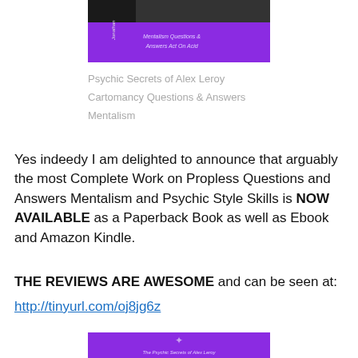[Figure (illustration): Book cover with purple background showing 'Mentalism Questions & Answers Act On Acid' with author name 'Jonathan' and a photo bar at top]
Psychic Secrets of Alex Leroy
Cartomancy Questions & Answers
Mentalism
Yes indeedy I am delighted to announce that arguably the most Complete Work on Propless Questions and Answers Mentalism and Psychic Style Skills is NOW AVAILABLE as a Paperback Book as well as Ebook and Amazon Kindle.
THE REVIEWS ARE AWESOME and can be seen at:
http://tinyurl.com/oj8jg6z
[Figure (illustration): Bottom portion of another purple book cover with ornamental design]